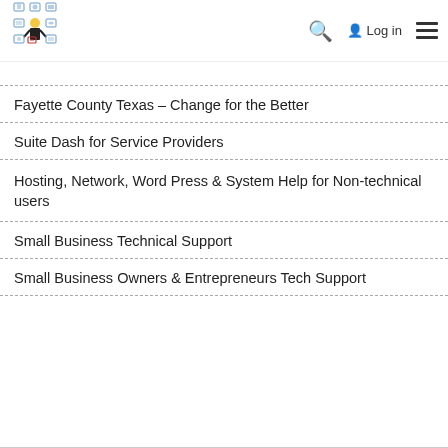Logo and navigation bar with search, Log in, and hamburger menu
Fayette County Texas – Change for the Better
Suite Dash for Service Providers
Hosting, Network, Word Press & System Help for Non-technical users
Small Business Technical Support
Small Business Owners & Entrepreneurs Tech Support